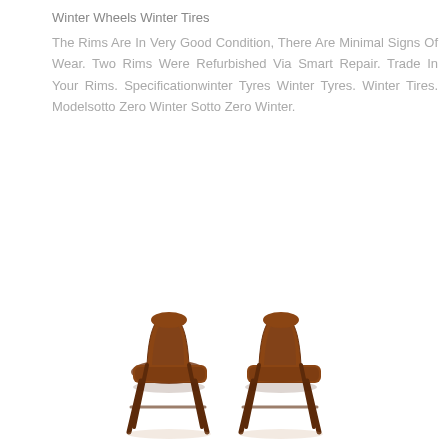Winter Wheels Winter Tires
The Rims Are In Very Good Condition, There Are Minimal Signs Of Wear. Two Rims Were Refurbished Via Smart Repair. Trade In Your Rims. Specificationwinter Tyres Winter Tyres. Winter Tires. Modelsotto Zero Winter Sotto Zero Winter.
[Figure (photo): Two mid-century modern wooden dining chairs facing each other, photographed on a white background.]